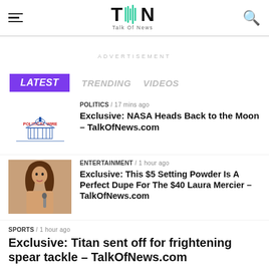Talk Of News - TON logo header with hamburger menu and search icon
ADVERTISEMENT
LATEST   TRENDING   VIDEOS
POLITICS / 17 mins ago
Exclusive: NASA Heads Back to the Moon – TalkOfNews.com
ENTERTAINMENT / 1 hour ago
Exclusive: This $5 Setting Powder Is A Perfect Dupe For The $40 Laura Mercier – TalkOfNews.com
SPORTS / 1 hour ago
Exclusive: Titan sent off for frightening spear tackle – TalkOfNews.com